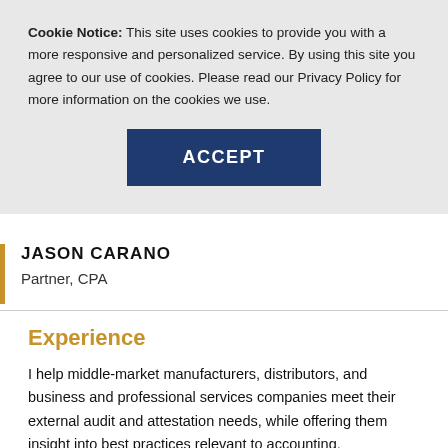Cookie Notice: This site uses cookies to provide you with a more responsive and personalized service. By using this site you agree to our use of cookies. Please read our Privacy Policy for more information on the cookies we use.
ACCEPT
JASON CARANO
Partner, CPA
Experience
I help middle-market manufacturers, distributors, and business and professional services companies meet their external audit and attestation needs, while offering them insight into best practices relevant to accounting,